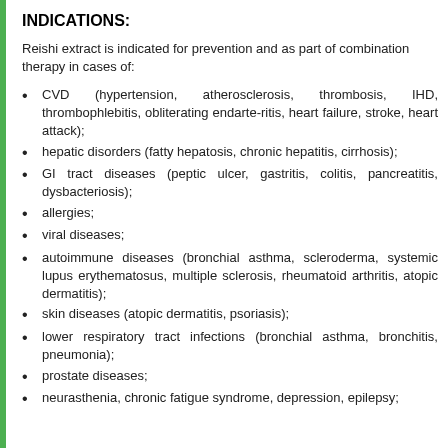INDICATIONS:
Reishi extract is indicated for prevention and as part of combination therapy in cases of:
CVD (hypertension, atherosclerosis, thrombosis, IHD, thrombophlebitis, obliterating endarte-ritis, heart failure, stroke, heart attack);
hepatic disorders (fatty hepatosis, chronic hepatitis, cirrhosis);
GI tract diseases (peptic ulcer, gastritis, colitis, pancreatitis, dysbacteriosis);
allergies;
viral diseases;
autoimmune diseases (bronchial asthma, scleroderma, systemic lupus erythematosus, multiple sclerosis, rheumatoid arthritis, atopic dermatitis);
skin diseases (atopic dermatitis, psoriasis);
lower respiratory tract infections (bronchial asthma, bronchitis, pneumonia);
prostate diseases;
neurasthenia, chronic fatigue syndrome, depression, epilepsy;